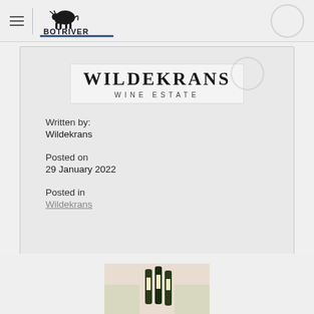Botriver Wine Route — navigation bar with logo
[Figure (logo): Wildekrans Wine Estate logo — bold serif text WILDEKRANS above smaller spaced text WINE ESTATE]
Written by:
Wildekrans
Posted on
29 January 2022
Posted in
Wildekrans
[Figure (photo): Partial image of olive oil bottles at the bottom of the page]